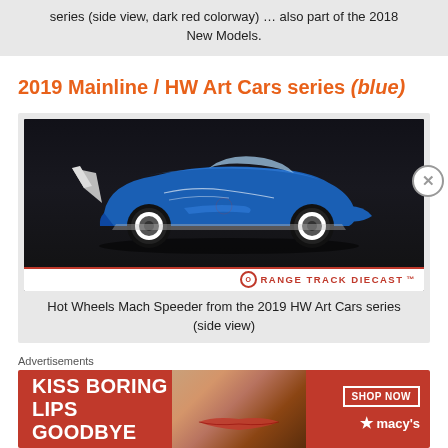series (side view, dark red colorway) … also part of the 2018 New Models.
2019 Mainline / HW Art Cars series (blue)
[Figure (photo): Hot Wheels Mach Speeder die-cast car in blue colorway, side view, against dark background. Orange Track Diecast watermark logo at bottom.]
Hot Wheels Mach Speeder from the 2019 HW Art Cars series (side view)
Advertisements
[Figure (photo): Macy's advertisement banner: 'KISS BORING LIPS GOODBYE' with a photo of a woman's face with red lips, and a 'SHOP NOW' button with Macy's star logo.]